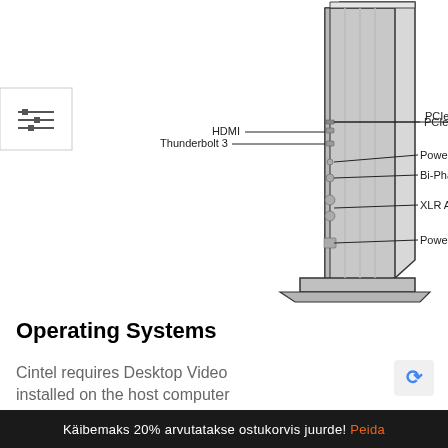[Figure (engineering-diagram): Side/rear view of a Cintel film scanner device with labeled ports: HDMI, Thunderbolt 3, PCIe, Power Supply Status, Bi-Phase Sync / Timecode Out, XLR Audio Inputs, Power Connection. Lines point from labels to connector positions on the device body.]
Operating Systems
Cintel requires Desktop Video installed on the host computer